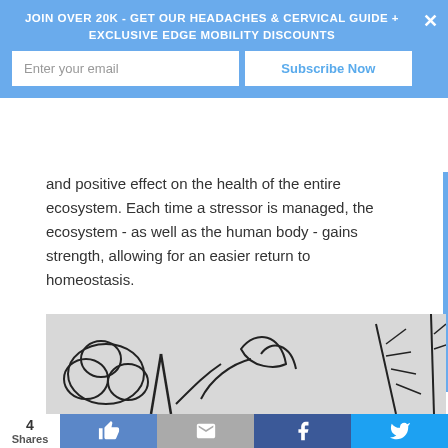JOIN OVER 20K - GET OUR HEADACHES & CERVICAL GUIDE + EXCLUSIVE EDGE MOBILITY DISCOUNTS
and positive effect on the health of the entire ecosystem. Each time a stressor is managed, the ecosystem - as well as the human body - gains strength, allowing for an easier return to homeostasis.
Story #2:
A Stroll Through the Forest
[Figure (illustration): Line drawing illustration of forest/nature scene with plants and trees on a grey background]
4 Shares